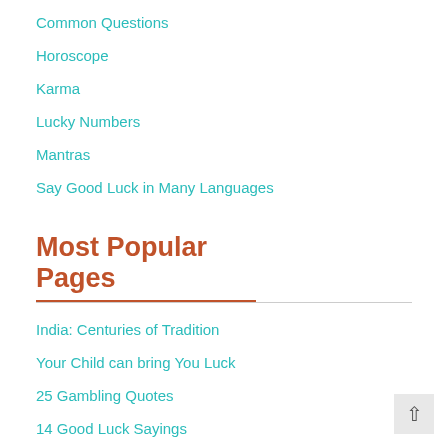Common Questions
Horoscope
Karma
Lucky Numbers
Mantras
Say Good Luck in Many Languages
Most Popular Pages
India: Centuries of Tradition
Your Child can bring You Luck
25 Gambling Quotes
14 Good Luck Sayings
77 Good Luck Sayings